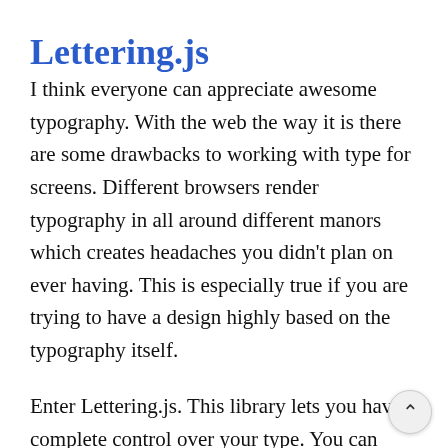Lettering.js
I think everyone can appreciate awesome typography. With the web the way it is there are some drawbacks to working with type for screens. Different browsers render typography in all around different manors which creates headaches you didn't plan on ever having. This is especially true if you are trying to have a design highly based on the typography itself.
Enter Lettering.js. This library lets you have complete control over your type. You can even control each letter if you need to.